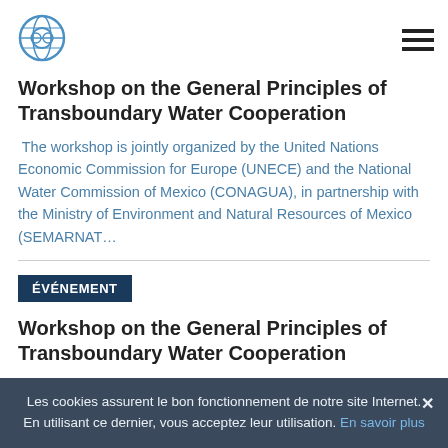UNECE logo and navigation menu
Workshop on the General Principles of Transboundary Water Cooperation
The workshop is jointly organized by the United Nations Economic Commission for Europe (UNECE) and the National Water Commission of Mexico (CONAGUA), in partnership with the Ministry of Environment and Natural Resources of Mexico (SEMARNAT…
ÉVÉNEMENT
Workshop on the General Principles of Transboundary Water Cooperation
Les cookies assurent le bon fonctionnement de notre site Internet. En utilisant ce dernier, vous acceptez leur utilisation. En savoir plus